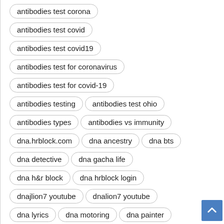antibodies test corona
antibodies test covid
antibodies test covid19
antibodies test for coronavirus
antibodies test for covid-19
antibodies testing
antibodies test ohio
antibodies types
antibodies vs immunity
dna.hrblock.com
dna ancestry
dna bts
dna detective
dna gacha life
dna h&r block
dna hrblock login
dnajlion7 youtube
dnalion7 youtube
dna lyrics
dna motoring
dna painter
dna productions
dna replication